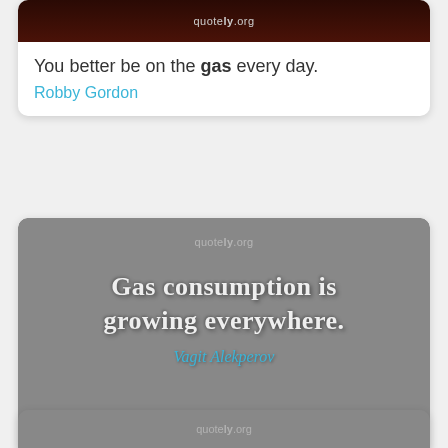[Figure (illustration): Quote card image with dark reddish-brown gradient background and quotely.org watermark]
You better be on the gas every day.
Robby Gordon
[Figure (illustration): Quote card image with grey background and leaves/berries decoration, text: Gas consumption is growing everywhere. Vagit Alekperov, quotely.org watermark]
Gas consumption is growing everywhere.
Vagit Alekperov
[Figure (illustration): Partially visible third quote card with grey background, quotely.org watermark]